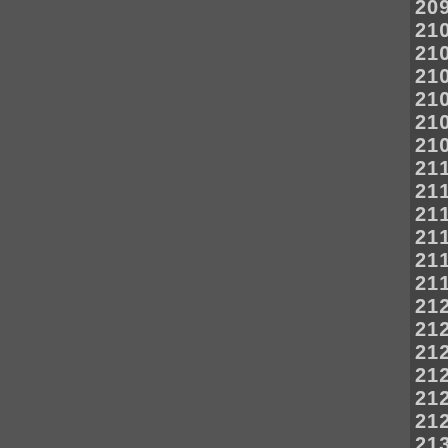20990 20991 20992 20993 20994 20995 20996 21007 21008 21009 21010 21011 21012 21013 21024 21025 21026 21027 21028 21029 21030 21041 21042 21043 21044 21045 21046 21047 21058 21059 21060 21061 21062 21063 21064 21075 21076 21077 21078 21079 21080 21081 21092 21093 21094 21095 21096 21097 21098 21109 21110 21111 21112 21113 21114 21115 21126 21127 21128 21129 21130 21131 21132 21143 21144 21145 21146 21147 21148 21149 21160 21161 21162 21163 21164 21165 21166 21177 21178 21179 21180 21181 21182 21183 21194 21195 21196 21197 21198 21199 21200 21211 21212 21213 21214 21215 21216 21217 21228 21229 21230 21231 21232 21233 21234 21245 21246 21247 21248 21249 21250 21251 21262 21263 21264 21265 21266 21267 21268 21279 21280 21281 21282 21283 21284 21285 21296 21297 21298 21299 21300 21301 21302 21313 21314 21315 21316 21317 21318 21319 21330 21331 21332 21333 21334 21335 21336 21347 21348 21349 21350 21351 21352 21353 21364 21365 21366 21367 21368 21369 21370 21381 21382 21383 21384 21385 21386 21387